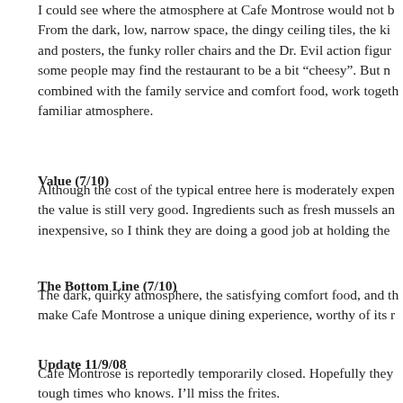I could see where the atmosphere at Cafe Montrose would not be for everyone. From the dark, low, narrow space, the dingy ceiling tiles, the kitsch and posters, the funky roller chairs and the Dr. Evil action figures, some people may find the restaurant to be a bit “cheesy”. But no, combined with the family service and comfort food, work together to create a familiar atmosphere.
Value (7/10)
Although the cost of the typical entree here is moderately expensive, the value is still very good. Ingredients such as fresh mussels are not inexpensive, so I think they are doing a good job at holding the
The Bottom Line (7/10)
The dark, quirky atmosphere, the satisfying comfort food, and th make Cafe Montrose a unique dining experience, worthy of its r
Update 11/9/08
Cafe Montrose is reportedly temporarily closed. Hopefully they tough times who knows. I’ll miss the frites.